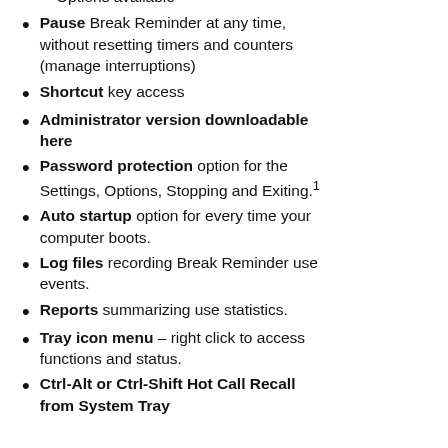Pause Break Reminder at any time, without resetting timers and counters (manage interruptions)
Shortcut key access
Administrator version downloadable here
Password protection option for the Settings, Options, Stopping and Exiting.¹
Auto startup option for every time your computer boots.
Log files recording Break Reminder use events.
Reports summarizing use statistics.
Tray icon menu – right click to access functions and status.
Ctrl-Alt or Ctrl-Shift Hot Call Recall from System Tray